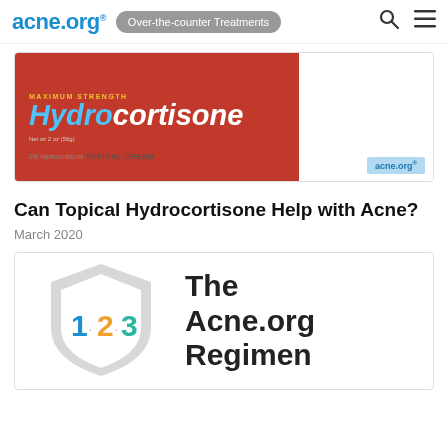acne.org® Over-the-counter Treatments
[Figure (photo): Maximum Strength Hydrocortisone 1% Topical Cream product box on red background with acne.org branding]
Can Topical Hydrocortisone Help with Acne?
March 2020
[Figure (illustration): The Acne.org Regimen shield logo with 1·2·3 numbers in blue, orange, and teal]